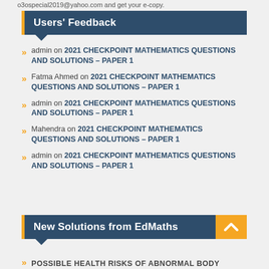o3ospecial2019@yahoo.com and get your e-copy.
Users' Feedback
admin on 2021 CHECKPOINT MATHEMATICS QUESTIONS AND SOLUTIONS – PAPER 1
Fatma Ahmed on 2021 CHECKPOINT MATHEMATICS QUESTIONS AND SOLUTIONS – PAPER 1
admin on 2021 CHECKPOINT MATHEMATICS QUESTIONS AND SOLUTIONS – PAPER 1
Mahendra on 2021 CHECKPOINT MATHEMATICS QUESTIONS AND SOLUTIONS – PAPER 1
admin on 2021 CHECKPOINT MATHEMATICS QUESTIONS AND SOLUTIONS – PAPER 1
New Solutions from EdMaths
POSSIBLE HEALTH RISKS OF ABNORMAL BODY